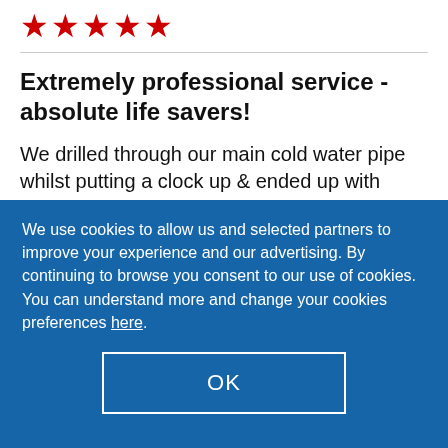[Figure (other): Five red star rating icons]
Extremely professional service - absolute life savers!
We drilled through our main cold water pipe whilst putting a clock up & ended up with water
We use cookies to allow us and selected partners to improve your experience and our advertising. By continuing to browse you consent to our use of cookies. You can understand more and change your cookies preferences here.
OK